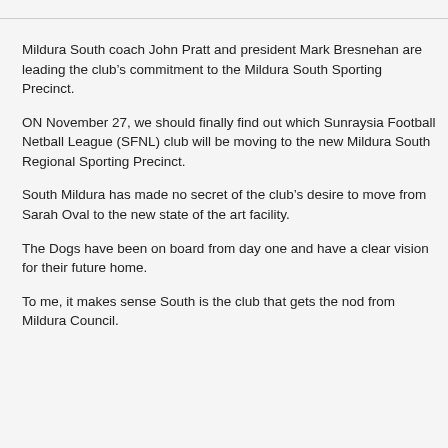Mildura South coach John Pratt and president Mark Bresnehan are leading the club’s commitment to the Mildura South Sporting Precinct.
ON November 27, we should finally find out which Sunraysia Football Netball League (SFNL) club will be moving to the new Mildura South Regional Sporting Precinct.
South Mildura has made no secret of the club’s desire to move from Sarah Oval to the new state of the art facility.
The Dogs have been on board from day one and have a clear vision for their future home.
To me, it makes sense South is the club that gets the nod from Mildura Council.